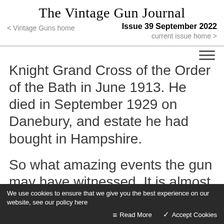The Vintage Gun Journal
Issue 39 September 2022
< Vintage Guns home    current issue home >
Knight Grand Cross of the Order of the Bath in June 1913. He died in September 1929 on Danebury, and estate he had bought in Hampshire.
So what amazing events the gun may have witnessed. It is almost certain it would have been with him
We use cookies to ensure that we give you the best experience on our website, see our policy here    Read More    ✓ Accept Cookies